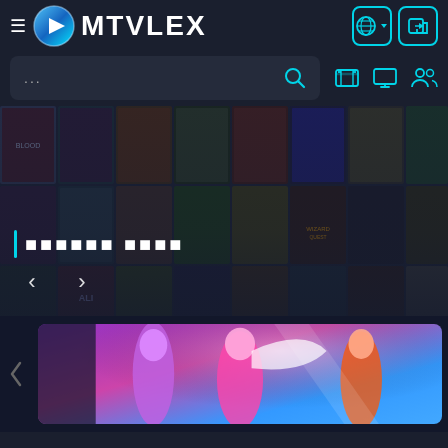[Figure (screenshot): MTVLEX streaming website header with hamburger menu, circular play button logo, MTVLEX text, globe language selector, and login button with cyan borders]
...
[Figure (screenshot): Movie poster collage banner with dark overlay showing various movie covers arranged in a grid, with a section title in non-Latin script and navigation arrows]
[Figure (screenshot): Bottom section showing a movie poster featuring superhero characters on a purple/blue background, partially visible]